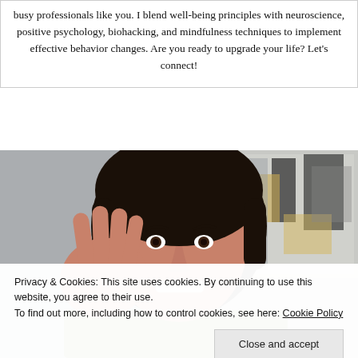busy professionals like you. I blend well-being principles with neuroscience, positive psychology, biohacking, and mindfulness techniques to implement effective behavior changes. Are you ready to upgrade your life? Let's connect!
[Figure (photo): A smiling woman with dark hair waving her hand at the camera, with an abstract painting on the wall behind her.]
Privacy & Cookies: This site uses cookies. By continuing to use this website, you agree to their use.
To find out more, including how to control cookies, see here: Cookie Policy